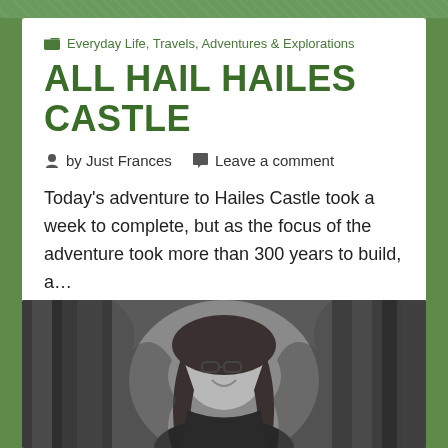Everyday Life, Travels, Adventures & Explorations
ALL HAIL HAILES CASTLE
by Just Frances   Leave a comment
Today's adventure to Hailes Castle took a week to complete, but as the focus of the adventure took more than 300 years to build, a…
Keep reading
[Figure (photo): Black and white photograph of a smiling woman with long dark hair and glasses, peeking between two large tree trunks]